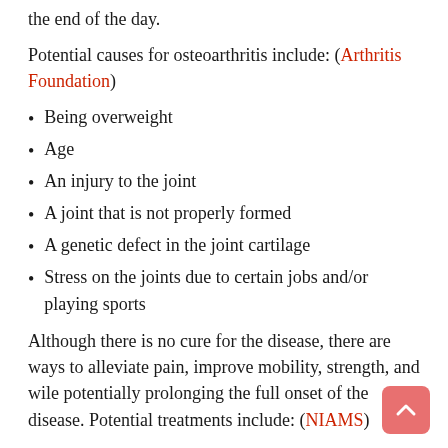the end of the day.
Potential causes for osteoarthritis include: (Arthritis Foundation)
Being overweight
Age
An injury to the joint
A joint that is not properly formed
A genetic defect in the joint cartilage
Stress on the joints due to certain jobs and/or playing sports
Although there is no cure for the disease, there are ways to alleviate pain, improve mobility, strength, and wile potentially prolonging the full onset of the disease. Potential treatments include: (NIAMS)
Exercise